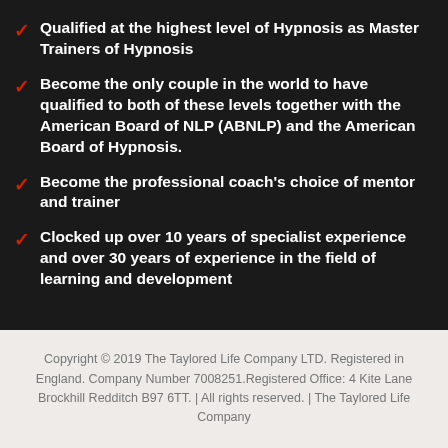Qualified at the highest level of Hypnosis as Master Trainers of Hypnosis
Become the only couple in the world to have qualified to both of these levels together with the American Board of NLP (ABNLP) and the American Board of Hypnosis.
Become the professional coach's choice of mentor and trainer
Clocked up over 10 years of specialist experience and over 30 years of experience in the field of learning and development
Copyright © 2019 The Taylored Life Company LTD. Registered in England. Company Number 7008251.Registered Office: 4 Kite Lane Brockhill Redditch B97 6TT. | All rights reserved. | The Taylored Life Company